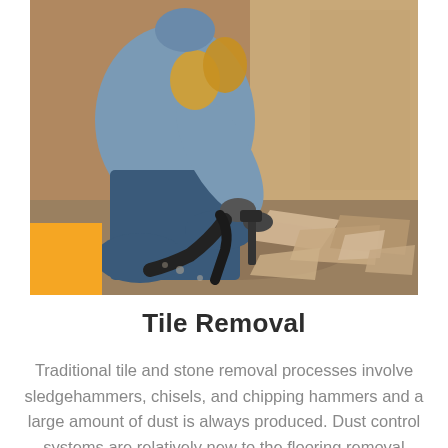[Figure (photo): A person wearing gloves and work clothes kneeling on a floor, using a tool to remove tiles. Broken tile debris and dust are visible on the floor. A yellow square decorative element is overlaid in the bottom-left corner of the image.]
Tile Removal
Traditional tile and stone removal processes involve sledgehammers, chisels, and chipping hammers and a large amount of dust is always produced. Dust control systems are relatively new to the flooring removal